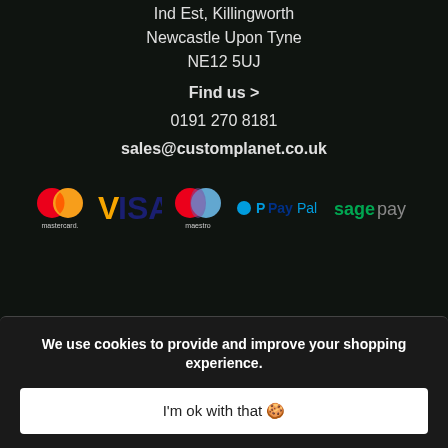Ind Est, Killingworth
Newcastle Upon Tyne
NE12 5UJ
Find us >
0191 270 8181
sales@customplanet.co.uk
[Figure (logo): Payment method logos: Mastercard, VISA, Maestro, PayPal, Sage Pay]
We use cookies to provide and improve your shopping experience.
I'm ok with that 🍪